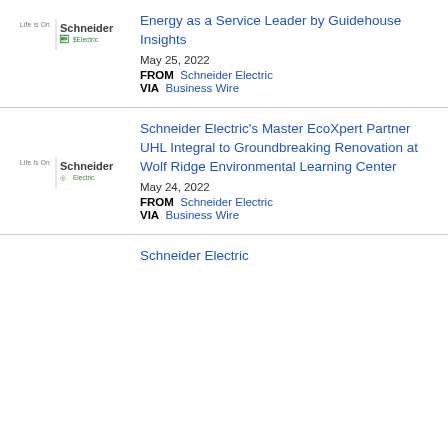[Figure (logo): Schneider Electric logo with 'Life is On' tagline]
Energy as a Service Leader by Guidehouse Insights
May 25, 2022
FROM  Schneider Electric
VIA  Business Wire
[Figure (logo): Schneider Electric logo with 'Life is On' tagline]
Schneider Electric's Master EcoXpert Partner UHL Integral to Groundbreaking Renovation at Wolf Ridge Environmental Learning Center
May 24, 2022
FROM  Schneider Electric
VIA  Business Wire
Schneider Electric